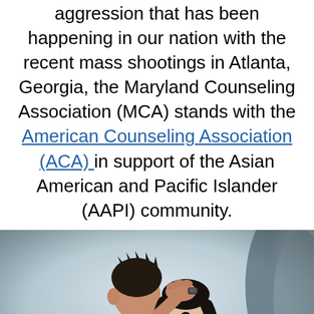aggression that has been happening in our nation with the recent mass shootings in Atlanta, Georgia, the Maryland Counseling Association (MCA) stands with the American Counseling Association (ACA) in support of the Asian American and Pacific Islander (AAPI) community.
[Figure (photo): A young Asian couple embracing. The man has dark spiky hair and is leaning his head toward a woman with long dark hair who rests her head on his shoulder. They appear to be outdoors near rocks. The image has a soft, slightly blurred background.]